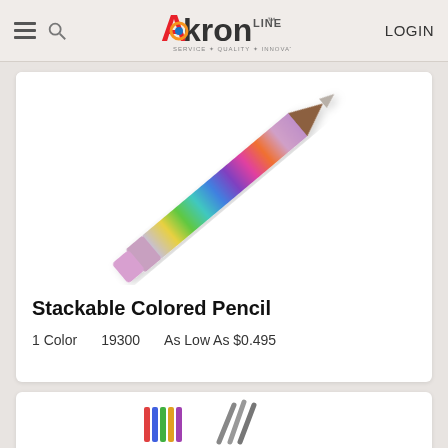Akron Line — LOGIN
[Figure (photo): A rainbow stackable colored pencil with multi-colored sections, shown diagonally with a pink eraser tip at top right and a silver point at bottom left]
Stackable Colored Pencil
1 Color   19300   As Low As $0.495
[Figure (photo): Partial view of a second product card at the bottom of the page]